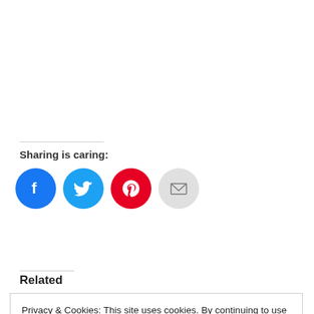Sharing is caring:
[Figure (infographic): Social sharing buttons: Facebook (blue circle), Twitter (light blue circle), Pinterest (red circle), Email (grey circle)]
Related
Privacy & Cookies: This site uses cookies. By continuing to use this website, you agree to their use. To find out more, including how to control cookies, see here: Cookie Policy
Close and accept